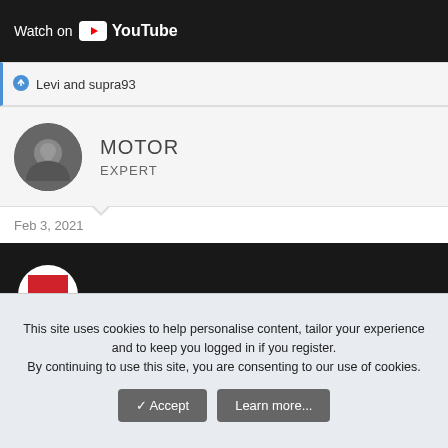[Figure (screenshot): YouTube video thumbnail strip showing 'Watch on YouTube' text with YouTube logo on dark background]
Levi and supra93
[Figure (photo): Motor Expert avatar profile icon - circular dark icon]
MOTOR
EXPERT
Feb 3, 2021
[Figure (screenshot): Video thumbnail: 2021 Toyota Supra 3.0L at Lightning Lap 2021 - dark road background with Motor Trend logo circle and white title text]
This site uses cookies to help personalise content, tailor your experience and to keep you logged in if you register.
By continuing to use this site, you are consenting to our use of cookies.